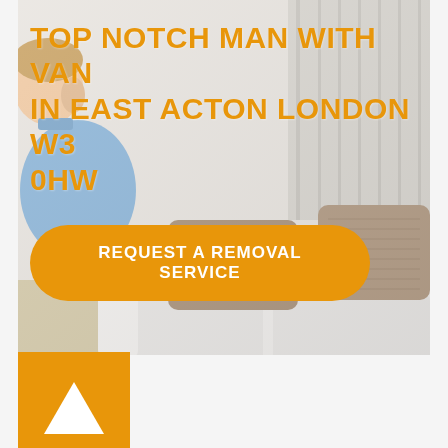[Figure (photo): Photo of a man in a blue shirt leaning over a white sofa with brown throw pillows, in a bright interior setting. Used as background for a man-with-van removal service advertisement.]
TOP NOTCH MAN WITH VAN IN EAST ACTON LONDON W3 0HW
REQUEST A REMOVAL SERVICE
[Figure (logo): Orange square with a white upward-pointing triangle inside — company logo.]